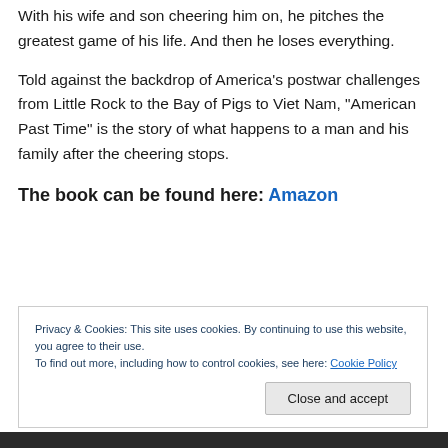With his wife and son cheering him on, he pitches the greatest game of his life. And then he loses everything.
Told against the backdrop of America’s postwar challenges from Little Rock to the Bay of Pigs to Viet Nam, “American Past Time” is the story of what happens to a man and his family after the cheering stops.
The book can be found here: Amazon
Privacy & Cookies: This site uses cookies. By continuing to use this website, you agree to their use.
To find out more, including how to control cookies, see here: Cookie Policy
Close and accept